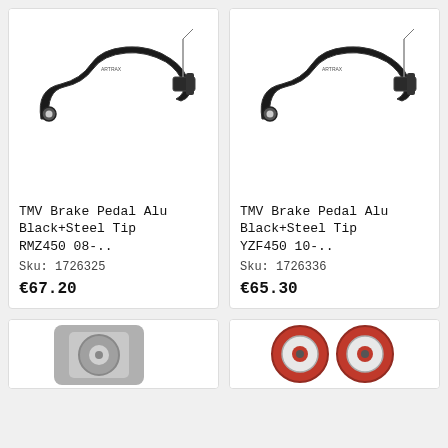[Figure (photo): TMV Brake Pedal Alu Black with Steel Tip for RMZ450 08- shown as black curved metal piece with cable]
TMV Brake Pedal Alu Black+Steel Tip RMZ450 08-..
Sku: 1726325
€67.20
[Figure (photo): TMV Brake Pedal Alu Black with Steel Tip for YZF450 10- shown as black curved metal piece with cable]
TMV Brake Pedal Alu Black+Steel Tip YZF450 10-..
Sku: 1726336
€65.30
[Figure (photo): Partial view of a grey metallic part (bottom left card)]
[Figure (photo): Partial view of red bearing/wheel parts (bottom right card)]